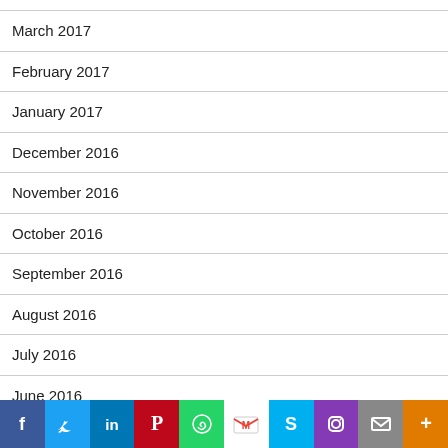March 2017
February 2017
January 2017
December 2016
November 2016
October 2016
September 2016
August 2016
July 2016
June 2016
May 2016
April 2016
[Figure (infographic): Social sharing bar with icons: Facebook, Twitter, LinkedIn, Pinterest, WhatsApp, Gmail, Skype, Instagram, Email, More]